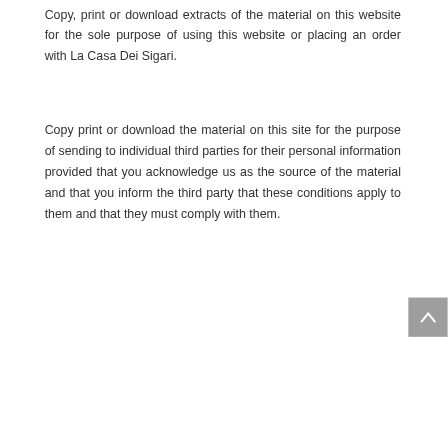Copy, print or download extracts of the material on this website for the sole purpose of using this website or placing an order with La Casa Dei Sigari.
Copy print or download the material on this site for the purpose of sending to individual third parties for their personal information provided that you acknowledge us as the source of the material and that you inform the third party that these conditions apply to them and that they must comply with them.